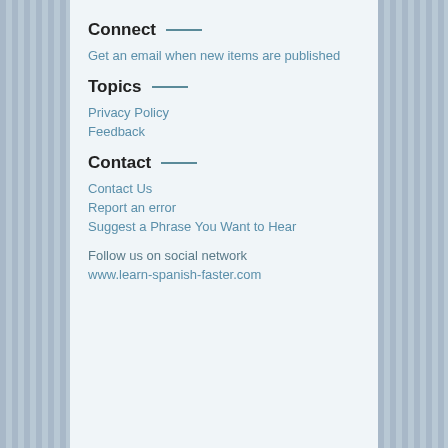Connect —
Get an email when new items are published
Topics —
Privacy Policy
Feedback
Contact —
Contact Us
Report an error
Suggest a Phrase You Want to Hear
Follow us on social network
www.learn-spanish-faster.com